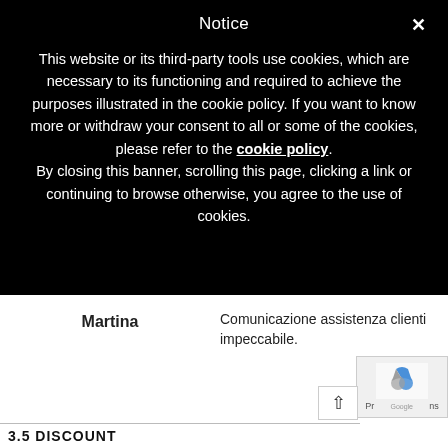Notice
This website or its third-party tools use cookies, which are necessary to its functioning and required to achieve the purposes illustrated in the cookie policy. If you want to know more or withdraw your consent to all or some of the cookies, please refer to the cookie policy. By closing this banner, scrolling this page, clicking a link or continuing to browse otherwise, you agree to the use of cookies.
Martina
Comunicazione assistenza clienti impeccabile.
ROSA
[Figure (other): reCAPTCHA widget with Google logo in bottom right corner, with navigation arrow button]
3.5 DISCOUNT